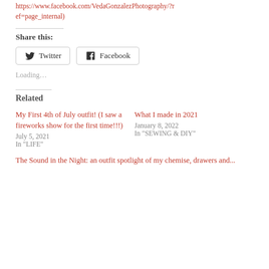https://www.facebook.com/VedaGonzalezPhotography/?ref=page_internal)
Share this:
Twitter  Facebook
Loading...
Related
My First 4th of July outfit! (I saw a fireworks show for the first time!!!)
July 5, 2021
In "LIFE"
What I made in 2021
January 8, 2022
In "SEWING & DIY"
The Sound in the Night: an outfit spotlight of my chemise, drawers and...